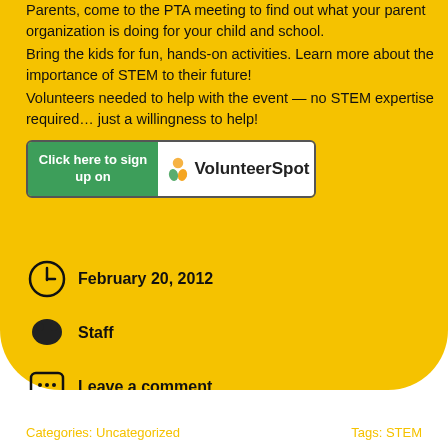Parents, come to the PTA meeting to find out what your parent organization is doing for your child and school.
Bring the kids for fun, hands-on activities. Learn more about the importance of STEM to their future!
Volunteers needed to help with the event — no STEM expertise required... just a willingness to help!
[Figure (other): Button: Click here to sign up on VolunteerSpot]
February 20, 2012
Staff
Leave a comment
Categories: Uncategorized    Tags: STEM